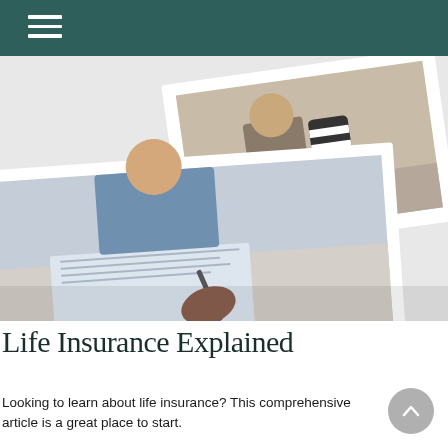[Figure (photo): Two framed photos on a light surface: one showing a woman signing a document, another showing a parent and child playing on a rug]
Life Insurance Explained
Looking to learn about life insurance? This comprehensive article is a great place to start.